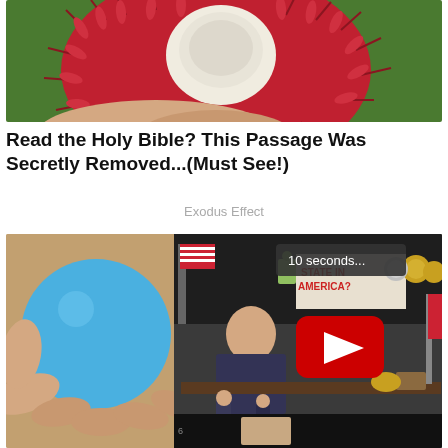[Figure (photo): Close-up photo of a rambutan fruit being held, showing its red spiky exterior with a white interior flesh visible in the center, against a green background.]
Read the Holy Bible? This Passage Was Secretly Removed...(Must See!)
Exodus Effect
[Figure (screenshot): Screenshot showing two overlapping images: on the left, a hand holding a blue ball; overlaid on the right, a YouTube video player showing a talk show/podcast set with a man seated at a desk, American flags, and a sign reading 'STATE IN AMERICA?'. The YouTube player shows a red play button and a '10 seconds...' countdown overlay in the top right.]